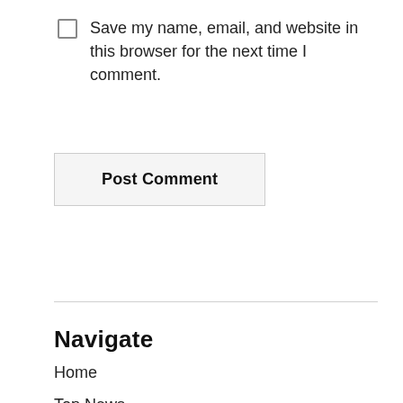Save my name, email, and website in this browser for the next time I comment.
Post Comment
Navigate
Home
Top News
Economy
entertainment
Politics